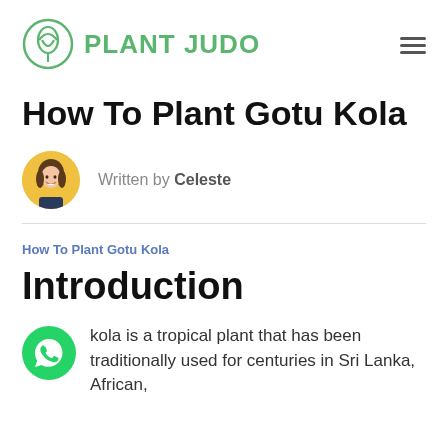PLANT JUDO
How To Plant Gotu Kola
Written by Celeste
How To Plant Gotu Kola
Introduction
kola is a tropical plant that has been traditionally used for centuries in Sri Lanka, African,